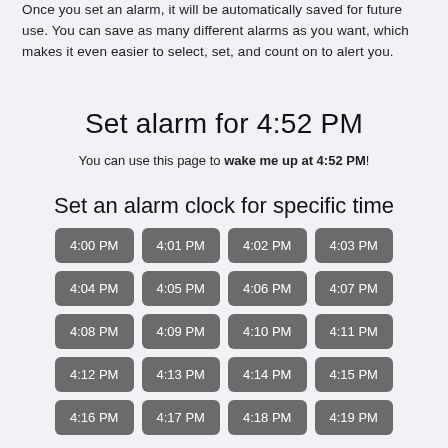Once you set an alarm, it will be automatically saved for future use. You can save as many different alarms as you want, which makes it even easier to select, set, and count on to alert you.
Set alarm for 4:52 PM
You can use this page to wake me up at 4:52 PM!
Set an alarm clock for specific time
4:00 PM
4:01 PM
4:02 PM
4:03 PM
4:04 PM
4:05 PM
4:06 PM
4:07 PM
4:08 PM
4:09 PM
4:10 PM
4:11 PM
4:12 PM
4:13 PM
4:14 PM
4:15 PM
4:16 PM
4:17 PM
4:18 PM
4:19 PM